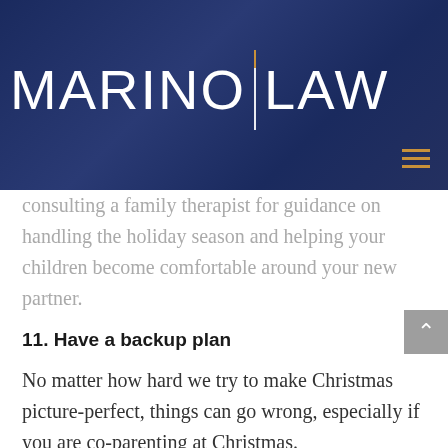[Figure (logo): Marino Law logo on dark navy blue banner background with gold/white vertical divider line between MARINO and LAW text]
consulting a family therapist for guidance on handling the holiday season and helping your children become comfortable around your new partner.
11. Have a backup plan
No matter how hard we try to make Christmas picture-perfect, things can go wrong, especially if you are co-parenting at Christmas.